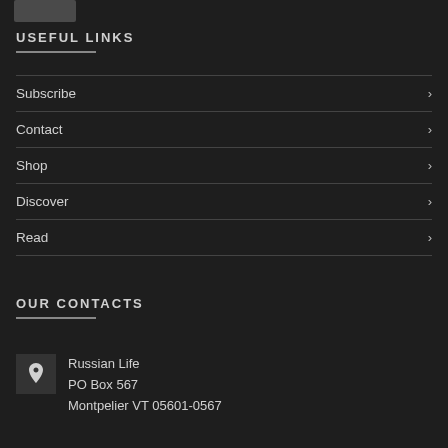[Figure (photo): Small photo/logo strip at top left]
USEFUL LINKS
Subscribe
Contact
Shop
Discover
Read
OUR CONTACTS
Russian Life
PO Box 567
Montpelier VT 05601-0567